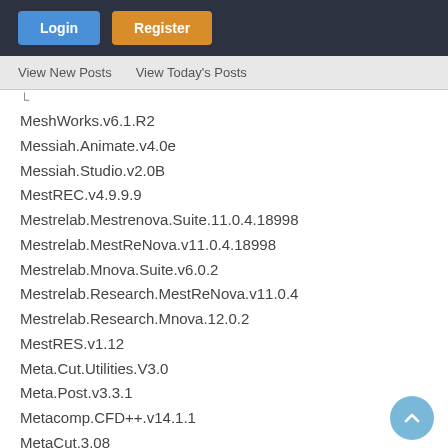Login | Register
View New Posts   View Today's Posts
MeshWorks.v6.1.R2
Messiah.Animate.v4.0e
Messiah.Studio.v2.0B
MestREC.v4.9.9.9
Mestrelab.Mestrenova.Suite.11.0.4.18998
Mestrelab.MestReNova.v11.0.4.18998
Mestrelab.Mnova.Suite.v6.0.2
Mestrelab.Research.MestReNova.v11.0.4
Mestrelab.Research.Mnova.12.0.2
MestRES.v1.12
Meta.Cut.Utilities.V3.0
Meta.Post.v3.3.1
Metacomp.CFD++.v14.1.1
MetaCut.3.08
METALINK
Metalix.CNCKad.v16.4.325
MetalMaster.from.NOVACAST